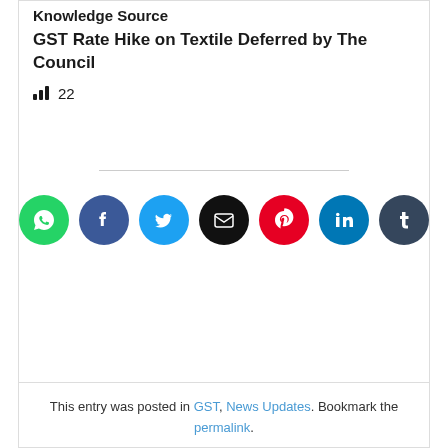Knowledge Source
GST Rate Hike on Textile Deferred by The Council
📊 22
[Figure (infographic): Row of 7 social sharing buttons: WhatsApp (green), Facebook (blue), Twitter (blue), Email (black), Pinterest (red), LinkedIn (blue), Tumblr (dark blue-gray)]
This entry was posted in GST, News Updates. Bookmark the permalink.